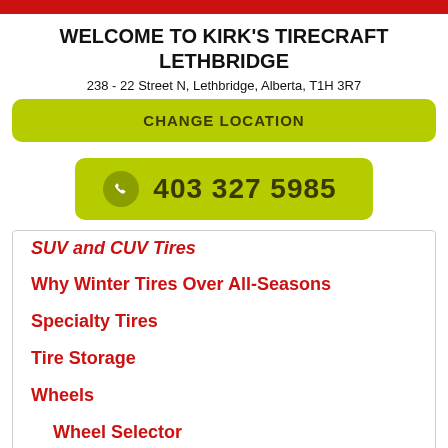WELCOME TO KIRK'S TIRECRAFT LETHBRIDGE
238 - 22 Street N, Lethbridge, Alberta, T1H 3R7
CHANGE LOCATION
403 327 5985
SUV and CUV Tires
Why Winter Tires Over All-Seasons
Specialty Tires
Tire Storage
Wheels
Wheel Selector
One of the leading tire companies in the